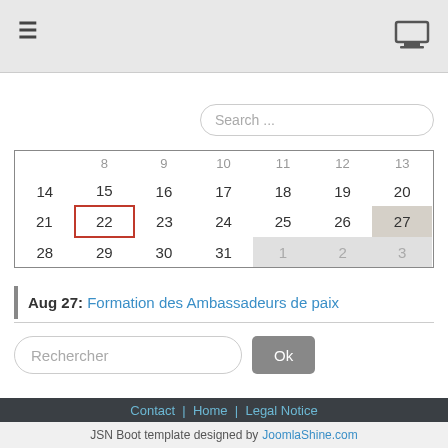☰  [monitor icon]  Search ...
|  | 8 | 9 | 10 | 11 | 12 | 13 |
| 14 | 15 | 16 | 17 | 18 | 19 | 20 |
| 21 | 22 | 23 | 24 | 25 | 26 | 27 |
| 28 | 29 | 30 | 31 | 1 | 2 | 3 |
Aug 27: Formation des Ambassadeurs de paix
Rechercher  Ok
Contact | Home | Legal Notice
Copyright © 2006-2022 Universal Peace Federation. All rights reserved
Universal Peace Federation is an NGO in General Consultative Status with the Economic and Social Council of the United Nations
We support and promote the work of the United Nations and the achievement of the Sustainable Development Goals
JSN Boot template designed by JoomlaShinе.com